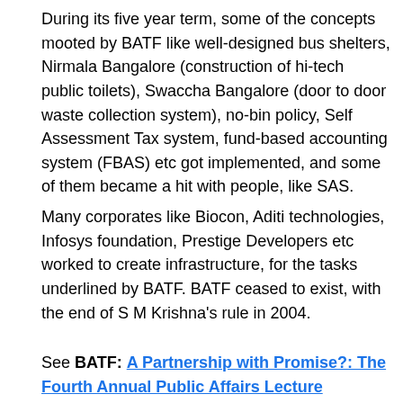During its five year term, some of the concepts mooted by BATF like well-designed bus shelters, Nirmala Bangalore (construction of hi-tech public toilets), Swaccha Bangalore (door to door waste collection system), no-bin policy, Self Assessment Tax system, fund-based accounting system (FBAS) etc got implemented, and some of them became a hit with people, like SAS.
Many corporates like Biocon, Aditi technologies, Infosys foundation, Prestige Developers etc worked to create infrastructure, for the tasks underlined by BATF. BATF ceased to exist, with the end of S M Krishna's rule in 2004.
See BATF: A Partnership with Promise?: The Fourth Annual Public Affairs Lecture